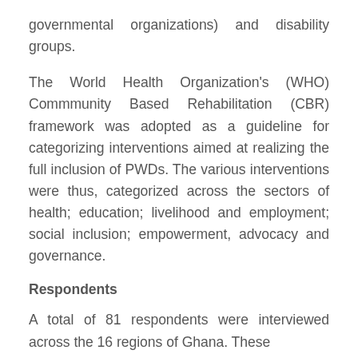governmental organizations) and disability groups.
The World Health Organization's (WHO) Commmunity Based Rehabilitation (CBR) framework was adopted as a guideline for categorizing interventions aimed at realizing the full inclusion of PWDs. The various interventions were thus, categorized across the sectors of health; education; livelihood and employment; social inclusion; empowerment, advocacy and governance.
Respondents
A total of 81 respondents were interviewed across the 16 regions of Ghana. These